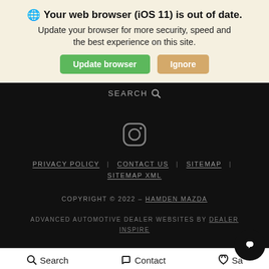🌐 Your web browser (iOS 11) is out of date. Update your browser for more security, speed and the best experience on this site.
Update browser | Ignore
SEARCH 🔍
[Figure (logo): Instagram icon (circle with rounded square outline) in grey on dark background]
PRIVACY POLICY | CONTACT US | SITEMAP | SITEMAP XML
COPYRIGHT © 2022 - HAMDEN MAZDA
ADVANCED AUTOMOTIVE DEALER WEBSITES BY DEALER INSPIRE
Search   Contact   Sa...